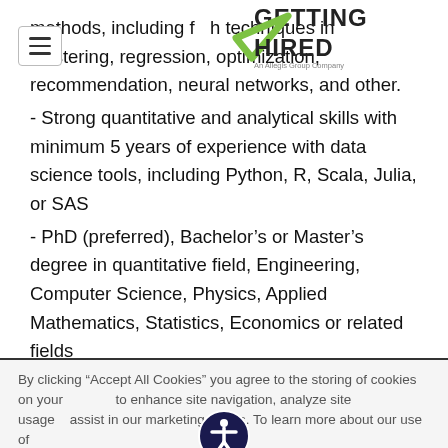[Figure (logo): Getting Hired logo with green checkmark, 'An Allegis Group Company' tagline]
methods, including f[...]h techniques in clustering, regression, optimization, recommendation, neural networks, and other.
- Strong quantitative and analytical skills with minimum 5 years of experience with data science tools, including Python, R, Scala, Julia, or SAS
- PhD (preferred), Bachelor's or Master's degree in quantitative field, Engineering, Computer Science, Physics, Applied Mathematics, Statistics, Economics or related fields
Bonus points if:
By clicking “Accept All Cookies” you agree to the storing of cookies on your device to enhance site navigation, analyze site usage, and assist in our marketing efforts. To learn more about our use of